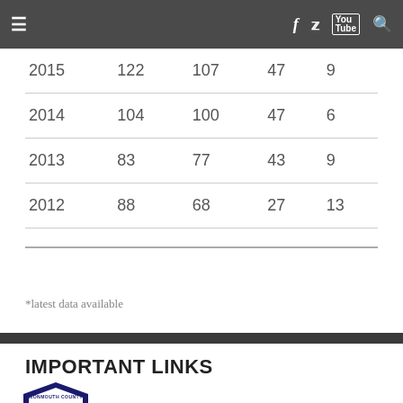≡  f  [twitter]  [youtube]  [search]
| 2015 | 122 | 107 | 47 | 9 |
| 2014 | 104 | 100 | 47 | 6 |
| 2013 | 83 | 77 | 43 | 9 |
| 2012 | 88 | 68 | 27 | 13 |
*latest data available
IMPORTANT LINKS
[Figure (logo): Monmouth County shield logo with colorful figures and text 'MONMOUTH COUNTY']